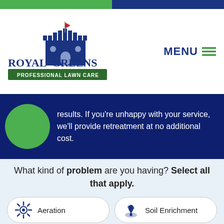[Figure (logo): Royal Greens Professional Lawn Care logo with castle illustration]
MENU ☰
results. If you're unhappy with your service, we'll provide retreatment at no additional cost.
What kind of problem are you having? Select all that apply.
Aeration
Soil Enrichment
Overseeding
Weeds